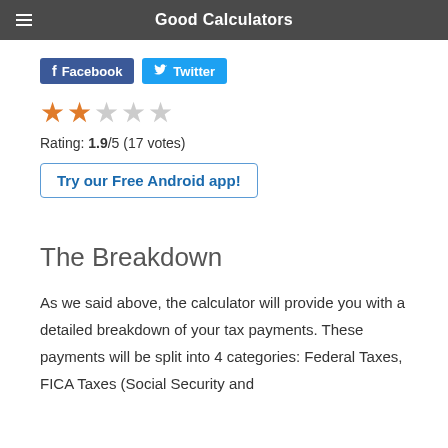Good Calculators
[Figure (other): Facebook and Twitter share buttons]
[Figure (other): Star rating: 1.9 out of 5 stars (2 filled, 3 empty)]
Rating: 1.9/5 (17 votes)
Try our Free Android app!
The Breakdown
As we said above, the calculator will provide you with a detailed breakdown of your tax payments. These payments will be split into 4 categories: Federal Taxes, FICA Taxes (Social Security and